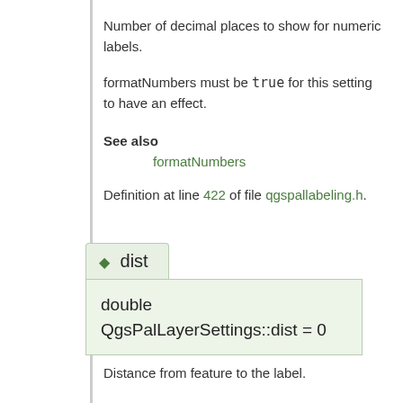Number of decimal places to show for numeric labels.
formatNumbers must be true for this setting to have an effect.
See also
formatNumbers
Definition at line 422 of file qgspallabeling.h.
◆ dist
double QgsPalLayerSettings::dist = 0
Distance from feature to the label.
Units are specified via distUnits.